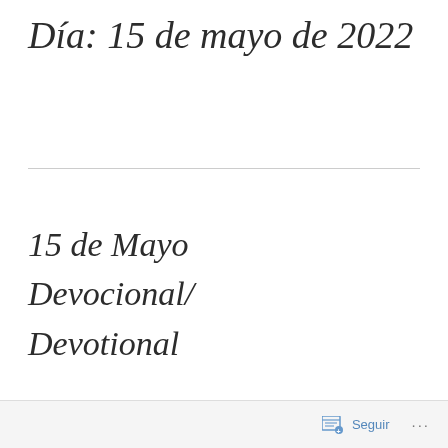Día: 15 de mayo de 2022
15 de Mayo Devocional/ Devotional
Seguir ...